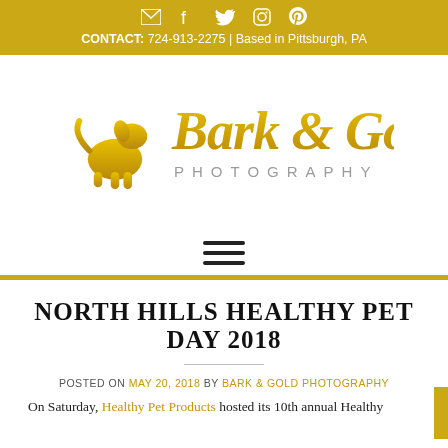CONTACT: 724-913-2275 | Based in Pittsburgh, PA
[Figure (logo): Bark & Gold Photography logo with golden sitting dog silhouette and script/serif text]
NORTH HILLS HEALTHY PET DAY 2018
POSTED ON MAY 20, 2018 BY BARK & GOLD PHOTOGRAPHY
On Saturday, Healthy Pet Products hosted its 10th annual Healthy